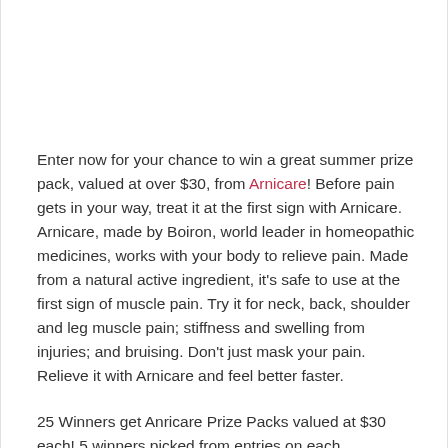Enter now for your chance to win a great summer prize pack, valued at over $30, from Arnicare! Before pain gets in your way, treat it at the first sign with Arnicare. Arnicare, made by Boiron, world leader in homeopathic medicines, works with your body to relieve pain. Made from a natural active ingredient, it's safe to use at the first sign of muscle pain. Try it for neck, back, shoulder and leg muscle pain; stiffness and swelling from injuries; and bruising. Don't just mask your pain. Relieve it with Arnicare and feel better faster.
25 Winners get Anricare Prize Packs valued at $30 each! 5 winners picked from entries on each participating blog's posts.